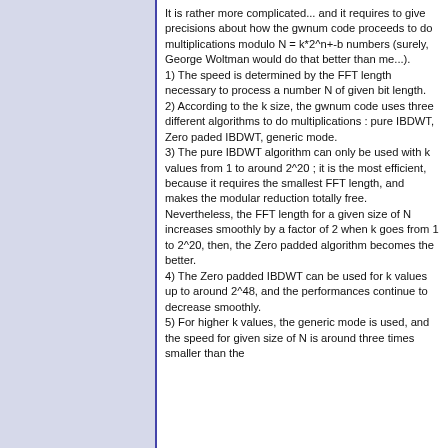It is rather more complicated... and it requires to give precisions about how the gwnum code proceeds to do multiplications modulo N = k*2^n+-b numbers (surely, George Woltman would do that better than me...).
1) The speed is determined by the FFT length necessary to process a number N of given bit length.
2) According to the k size, the gwnum code uses three different algorithms to do multiplications : pure IBDWT, Zero paded IBDWT, generic mode.
3) The pure IBDWT algorithm can only be used with k values from 1 to around 2^20 ; it is the most efficient, because it requires the smallest FFT length, and makes the modular reduction totally free.
Nevertheless, the FFT length for a given size of N increases smoothly by a factor of 2 when k goes from 1 to 2^20, then, the Zero padded algorithm becomes the better.
4) The Zero padded IBDWT can be used for k values up to around 2^48, and the performances continue to decrease smoothly.
5) For higher k values, the generic mode is used, and the speed for given size of N is around three times smaller than the